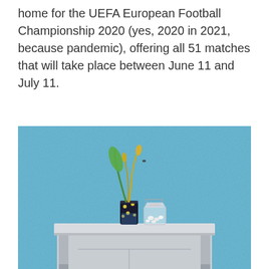home for the UEFA European Football Championship 2020 (yes, 2020 in 2021, because pandemic), offering all 51 matches that will take place between June 11 and July 11.
[Figure (photo): A small white table against a light blue textured wall. On the table sits a decorative glass with a floral pattern containing green and yellow plant stems, and next to it a clear glass jar with a clip-top lid containing small white objects.]